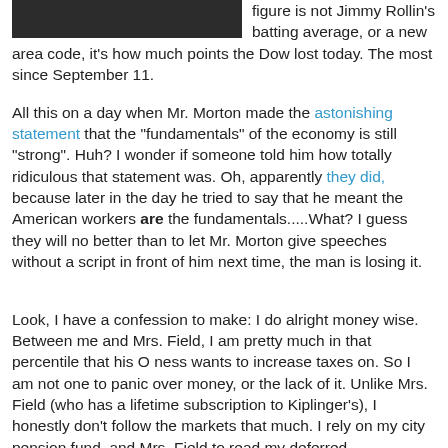[Figure (photo): Partial image at top left, dark/black colored strip]
figure is not Jimmy Rollin's batting average, or a new area code, it's how much points the Dow lost today. The most since September 11.
All this on a day when Mr. Morton made the astonishing statement that the "fundamentals" of the economy is still "strong". Huh? I wonder if someone told him how totally ridiculous that statement was. Oh, apparently they did, because later in the day he tried to say that he meant the American workers are the fundamentals.....What? I guess they will no better than to let Mr. Morton give speeches without a script in front of him next time, the man is losing it.
Look, I have a confession to make: I do alright money wise. Between me and Mrs. Field, I am pretty much in that percentile that his O ness wants to increase taxes on. So I am not one to panic over money, or the lack of it. Unlike Mrs. Field (who has a lifetime subscription to Kiplinger's), I honestly don't follow the markets that much. I rely on my city pension fund, and Mrs. Field to read my deferred compensation statements. Mrs. Field she has 401 K...